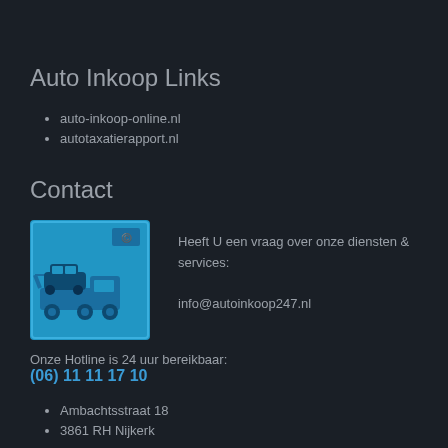Auto Inkoop Links
auto-inkoop-online.nl
autotaxatierapport.nl
Contact
[Figure (illustration): Blue square icon with a tow truck carrying a car, with a small logo in the top right corner]
Heeft U een vraag over onze diensten & services:
info@autoinkoop247.nl
Onze Hotline is 24 uur bereikbaar:
(06) 11 11 17 10
Ambachtsstraat 18
3861 RH Nijkerk